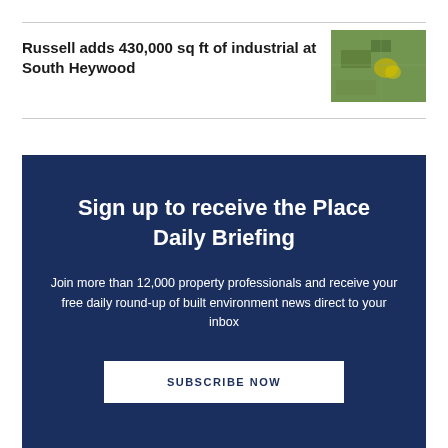Russell adds 430,000 sq ft of industrial at South Heywood
[Figure (photo): Aerial photograph of South Heywood industrial site showing green fields and development area]
Sign up to receive the Place Daily Briefing
Join more than 12,000 property professionals and receive your free daily round-up of built environment news direct to your inbox
SUBSCRIBE NOW